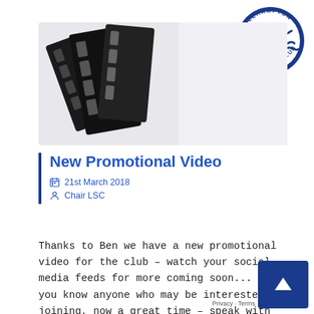[Figure (logo): Littlehampton Swimming Club circular logo with swimmer and waves]
[Figure (photo): Film reel strips coiled on a light background]
New Promotional Video
21st March 2018
Chair LSC
Thanks to Ben we have a new promotional video for the club – watch your social media feeds for more coming soon... If you know anyone who may be interested in joining, now a great time – speak with Fraser or email